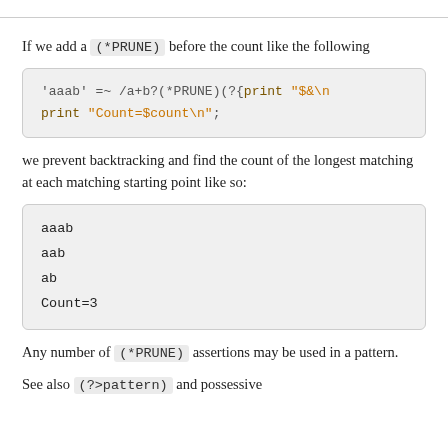If we add a (*PRUNE) before the count like the following
[Figure (screenshot): Code block showing: 'aaab' =~ /a+b?(*PRUNE)(?{print "$&\n" ... print "Count=$count\n";]
we prevent backtracking and find the count of the longest matching at each matching starting point like so:
[Figure (screenshot): Output block showing: aaab
aab
ab
Count=3]
Any number of (*PRUNE) assertions may be used in a pattern.
See also (?>pattern) and possessive